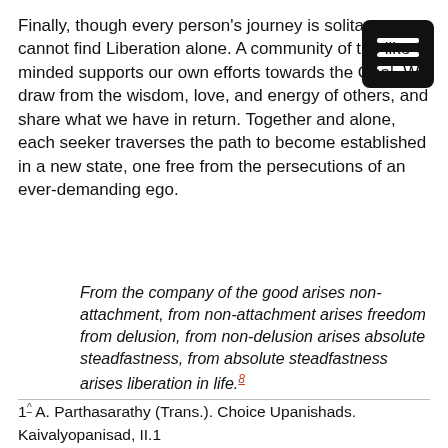Finally, though every person's journey is solitary, one cannot find Liberation alone. A community of the like-minded supports our own efforts towards the Goal. We draw from the wisdom, love, and energy of others, and share what we have in return. Together and alone, each seeker traverses the path to become established in a new state, one free from the persecutions of an ever-demanding ego.
From the company of the good arises non-attachment, from non-attachment arises freedom from delusion, from non-delusion arises absolute steadfastness, from absolute steadfastness arises liberation in life.8
1^ A. Parthasarathy (Trans.). Choice Upanishads. Kaivalyopanisad, II.1
2^ A. Parthasarathy (Trans.). Bhaja Govindam, Preface